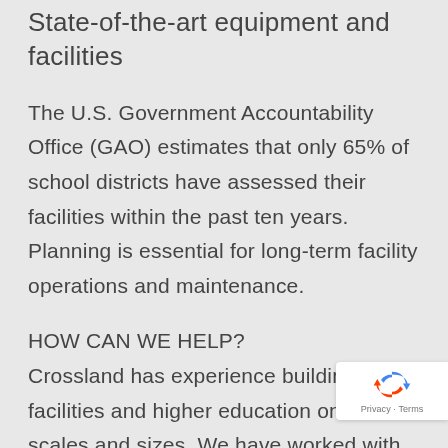State-of-the-art equipment and facilities
The U.S. Government Accountability Office (GAO) estimates that only 65% of school districts have assessed their facilities within the past ten years. Planning is essential for long-term facility operations and maintenance.
HOW CAN WE HELP?
Crossland has experience building K-12 facilities and higher education on all scales and sizes. We have worked with over 125 school districts and have constructed over 400 school projects over the last 40 years. Our expert estimators and preconstruction teams help schools perform life